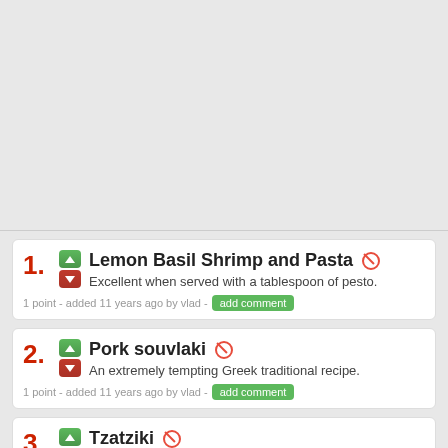1. Lemon Basil Shrimp and Pasta — Excellent when served with a tablespoon of pesto. 1 point - added 11 years ago by vlad
2. Pork souvlaki — An extremely tempting Greek traditional recipe. 1 point - added 11 years ago by vlad
3. Tzatziki — A brilliant Greek salad.